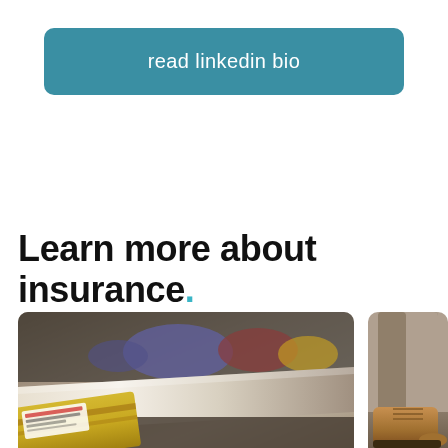read linkedin bio
Learn more about insurance.
[Figure (photo): Airport baggage carousel with luggage on a conveyor belt, close-up perspective; a labeled package visible in the foreground]
[Figure (photo): Close-up of a person's lower legs and work boots standing on dirt/gravel ground]